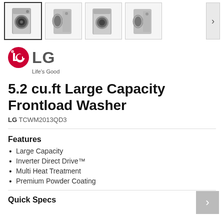[Figure (photo): Thumbnail strip of four product images showing LG front-load washing machine from various angles, with a navigation arrow button on the right.]
[Figure (logo): LG logo — red circle with LG letters and tagline 'Life's Good' below.]
5.2 cu.ft Large Capacity Frontload Washer
LG TCWM2013QD3
Features
Large Capacity
Inverter Direct Drive™
Multi Heat Treatment
Premium Powder Coating
Quick Specs